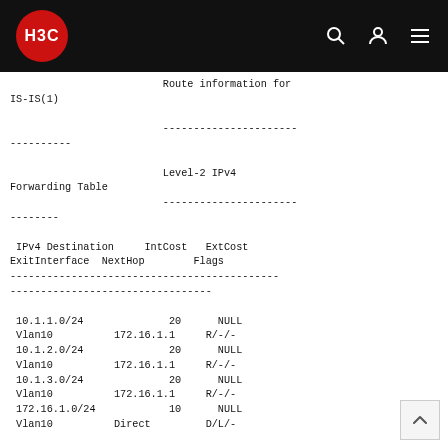H3C
Route information for IS-IS(1)
----------------------
----------

Level-2 IPv4 Forwarding Table
----------------------
--------

 IPv4 Destination     IntCost   ExtCost  ExitInterface  NextHop        Flags
---------------------------------------------------
---------------------------------
 10.1.1.0/24              20      NULL
 Vlan10          172.16.1.1     R/-/-
 10.1.2.0/24              20      NULL
 Vlan10          172.16.1.1     R/-/-
 10.1.3.0/24              20      NULL
 Vlan10          172.16.1.1     R/-/-
 172.16.1.0/24            10      NULL
 Vlan10          Direct         D/L/-